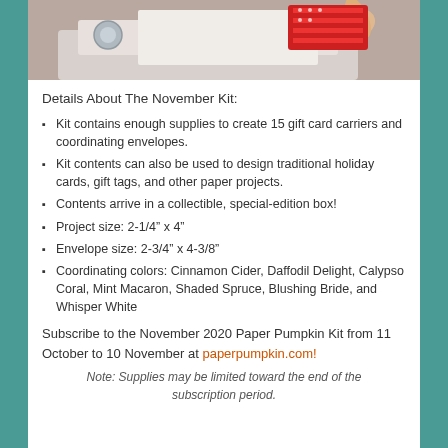[Figure (photo): Photo of hands working on a craft project with red patterned material on a white surface]
Details About The November Kit:
Kit contains enough supplies to create 15 gift card carriers and coordinating envelopes.
Kit contents can also be used to design traditional holiday cards, gift tags, and other paper projects.
Contents arrive in a collectible, special-edition box!
Project size: 2-1/4” x 4”
Envelope size: 2-3/4” x 4-3/8”
Coordinating colors: Cinnamon Cider, Daffodil Delight, Calypso Coral, Mint Macaron, Shaded Spruce, Blushing Bride, and Whisper White
Subscribe to the November 2020 Paper Pumpkin Kit from 11 October to 10 November at paperpumpkin.com!
Note: Supplies may be limited toward the end of the subscription period.